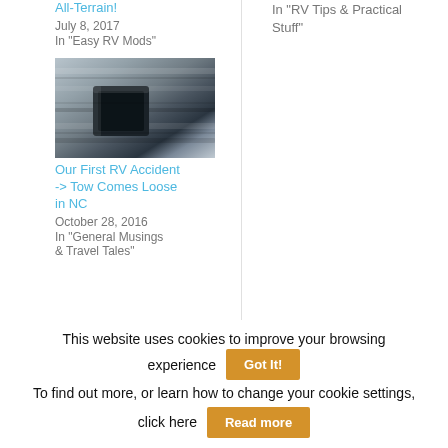All-Terrain!
July 8, 2017
In "Easy RV Mods"
In "RV Tips & Practical Stuff"
[Figure (photo): Close-up photo of a metal tow hitch or exhaust pipe, silver/chrome metallic surface]
Our First RV Accident -> Tow Comes Loose in NC
October 28, 2016
In "General Musings & Travel Tales"
This website uses cookies to improve your browsing experience
Got It!
To find out more, or learn how to change your cookie settings, click here
Read more